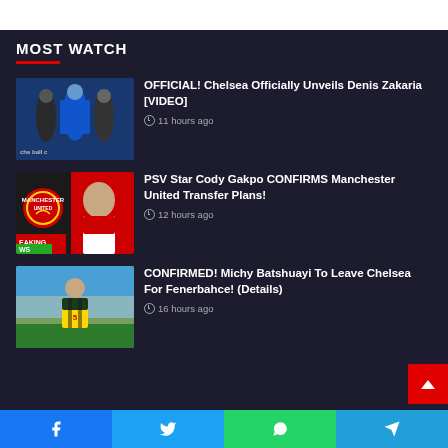MOST WATCH
OFFICIAL! Chelsea Officially Unveils Denis Zakaria [VIDEO] — 11 hours ago
PSV Star Cody Gakpo CONFIRMS Manchester United Transfer Plans! — 12 hours ago
CONFIRMED! Michy Batshuayi To Leave Chelsea For Fenerbahce! (Details) — 16 hours ago